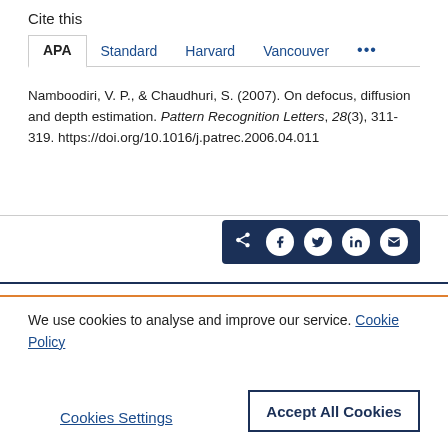Cite this
APA   Standard   Harvard   Vancouver   ...
Namboodiri, V. P., & Chaudhuri, S. (2007). On defocus, diffusion and depth estimation. Pattern Recognition Letters, 28(3), 311-319. https://doi.org/10.1016/j.patrec.2006.04.011
[Figure (other): Social share bar with icons for share, Facebook, Twitter, LinkedIn, and email on dark navy background]
We use cookies to analyse and improve our service. Cookie Policy
Cookies Settings
Accept All Cookies